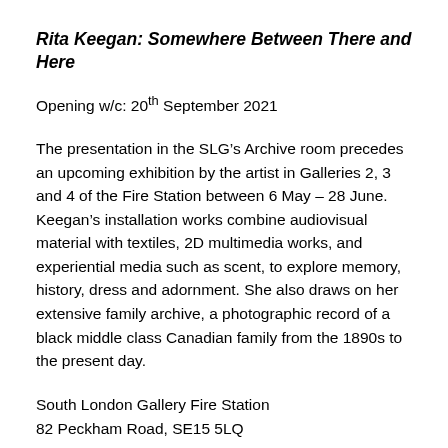Rita Keegan: Somewhere Between There and Here
Opening w/c: 20th September 2021
The presentation in the SLG’s Archive room precedes an upcoming exhibition by the artist in Galleries 2, 3 and 4 of the Fire Station between 6 May – 28 June. Keegan’s installation works combine audiovisual material with textiles, 2D multimedia works, and experiential media such as scent, to explore memory, history, dress and adornment. She also draws on her extensive family archive, a photographic record of a black middle class Canadian family from the 1890s to the present day.
South London Gallery Fire Station
82 Peckham Road, SE15 5LQ